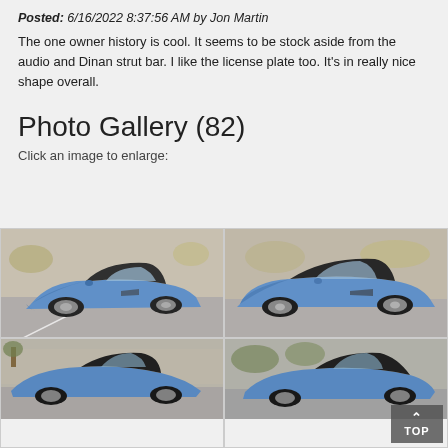Posted: 6/16/2022 8:37:56 AM by Jon Martin
The one owner history is cool. It seems to be stock aside from the audio and Dinan strut bar. I like the license plate too. It's in really nice shape overall.
Photo Gallery (82)
Click an image to enlarge:
[Figure (photo): Blue BMW Z3 roadster with black soft top, front three-quarter view in a parking lot]
[Figure (photo): Blue BMW Z3 roadster with black soft top, side profile view in a parking lot]
[Figure (photo): Blue BMW Z3 roadster, front view partially visible]
[Figure (photo): Blue BMW Z3 roadster with black soft top, rear three-quarter view]